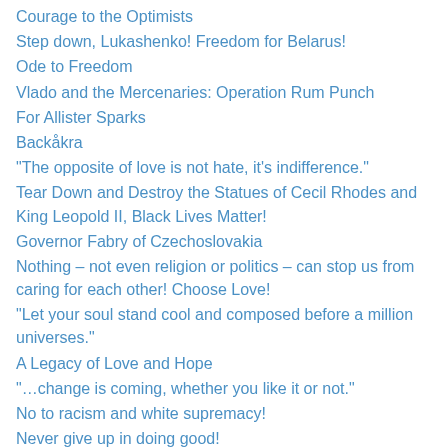Courage to the Optimists
Step down, Lukashenko! Freedom for Belarus!
Ode to Freedom
Vlado and the Mercenaries: Operation Rum Punch
For Allister Sparks
Backåkra
“The opposite of love is not hate, it’s indifference.”
Tear Down and Destroy the Statues of Cecil Rhodes and King Leopold II, Black Lives Matter!
Governor Fabry of Czechoslovakia
Nothing – not even religion or politics – can stop us from caring for each other! Choose Love!
“Let your soul stand cool and composed before a million universes.”
A Legacy of Love and Hope
“…change is coming, whether you like it or not.”
No to racism and white supremacy!
Never give up in doing good!
Cold Case Hammarskjold
In Memory of Mary Liz
Thank you, Hynrich Wieschhoff!